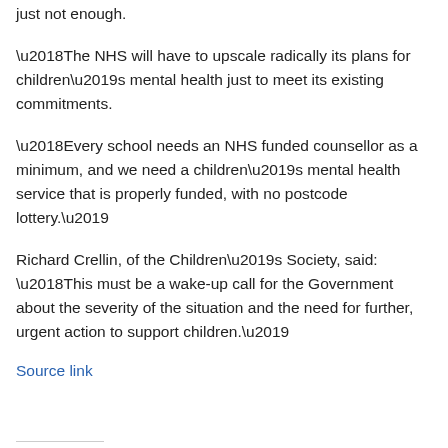just not enough.
‘The NHS will have to upscale radically its plans for children’s mental health just to meet its existing commitments.
‘Every school needs an NHS funded counsellor as a minimum, and we need a children’s mental health service that is properly funded, with no postcode lottery.’
Richard Crellin, of the Children’s Society, said: ‘This must be a wake-up call for the Government about the severity of the situation and the need for further, urgent action to support children.’
Source link